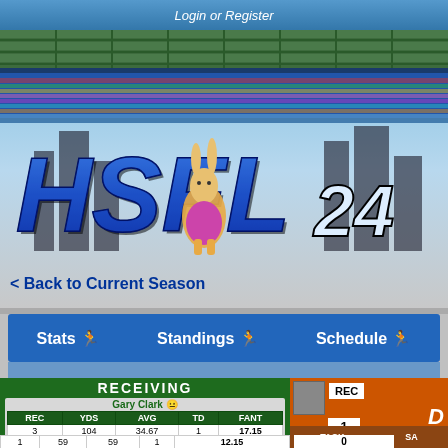Login or Register
[Figure (screenshot): HSFL 24 game/fantasy football website header with stadium background, mascot, and pixel art crowd]
< Back to Current Season
Stats   Standings   Schedule
RECEIVING
| REC | YDS | AVG | TD | FANT |
| --- | --- | --- | --- | --- |
| 3 | 104 | 34.67 | 1 | 17.15 |
Gary Clark
| REC | YDS | AVG | TD | FANT |
| --- | --- | --- | --- | --- |
| 1 | 59 | 59 | 1 | 12.15 |
Mark Jackson
REC
1
TACK  SA
0